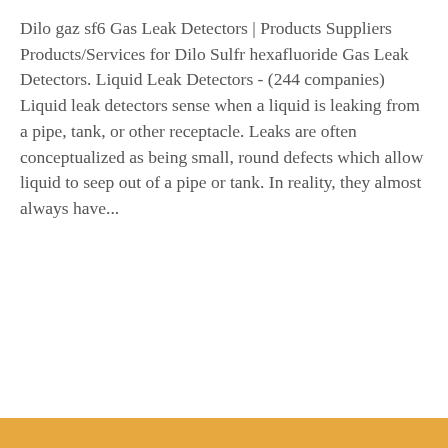Dilo gaz sf6 Gas Leak Detectors | Products Suppliers Products/Services for Dilo Sulfr hexafluoride Gas Leak Detectors. Liquid Leak Detectors - (244 companies) Liquid leak detectors sense when a liquid is leaking from a pipe, tank, or other receptacle. Leaks are often conceptualized as being small, round defects which allow liquid to seep out of a pipe or tank. In reality, they almost always have...
[Figure (other): Button with orange background labeled 'Get Price']
[Figure (photo): Photograph of electrical power transmission towers and high-voltage lines against a light sky background]
[Figure (other): Footer bar with 'Leave Message' and 'Chat Online' buttons, a circular avatar of a customer service representative with headset, and an orange scroll-to-top button]